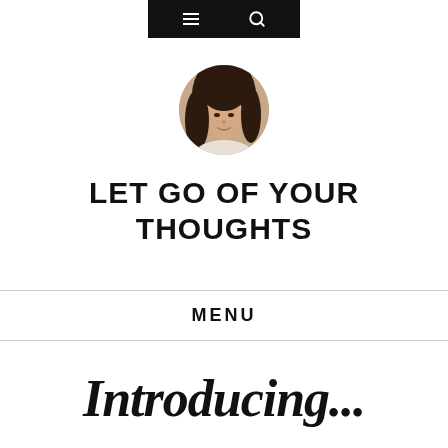Navigation bar with hamburger menu and search icon
[Figure (photo): Circular profile photo of a young woman with long dark hair, wearing a light-colored top, against a light background]
LET GO OF YOUR THOUGHTS
MENU
Introducing...